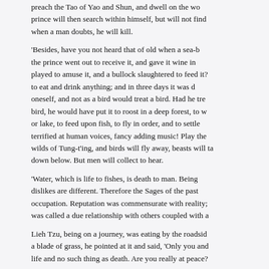preach the Tao of Yao and Shun, and dwell on the wo... prince will then search within himself, but will not find... when a man doubts, he will kill.
'Besides, have you not heard that of old when a sea-b... the prince went out to receive it, and gave it wine in... played to amuse it, and a bullock slaughtered to feed it?... to eat and drink anything; and in three days it was d... oneself, and not as a bird would treat a bird. Had he tre... bird, he would have put it to roost in a deep forest, to w... or lake, to feed upon fish, to fly in order, and to settle... terrified at human voices, fancy adding music! Play the... wilds of Tung-t'ing, and birds will fly away, beasts will ta... down below. But men will collect to hear.
'Water, which is life to fishes, is death to man. Being... dislikes are different. Therefore the Sages of the past... occupation. Reputation was commensurate with reality;... was called a due relationship with others coupled with a...
Lieh Tzu, being on a journey, was eating by the roadsid... a blade of grass, he pointed at it and said, 'Only you and... life and no such thing as death. Are you really at peace?...
'Certain germs, falling upon water, become duckweed.... land and the water, they become lichen. Spreading up...